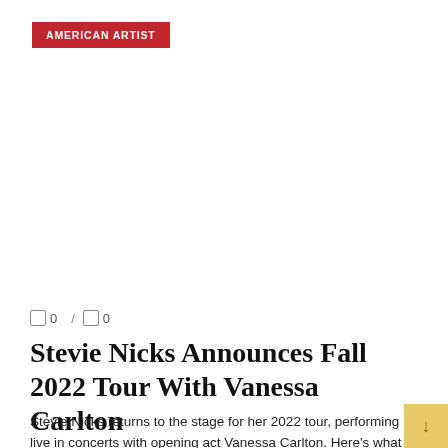AMERICAN ARTIST
0  /  0
Stevie Nicks Announces Fall 2022 Tour With Vanessa Carlton
Stevie Nicks returns to the stage for her 2022 tour, performing live in concerts with opening act Vanessa Carlton. Here's what we know about the former ...